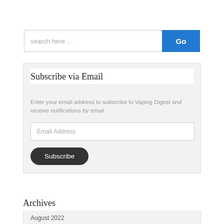[Figure (screenshot): Search bar with text input placeholder 'search here ...' and blue 'Go' button]
Subscribe via Email
Enter your email address to subscribe to Vaping Digest and receive notifications by email.
[Figure (screenshot): Email Address input field]
[Figure (screenshot): Subscribe button (dark rounded)]
Archives
August 2022